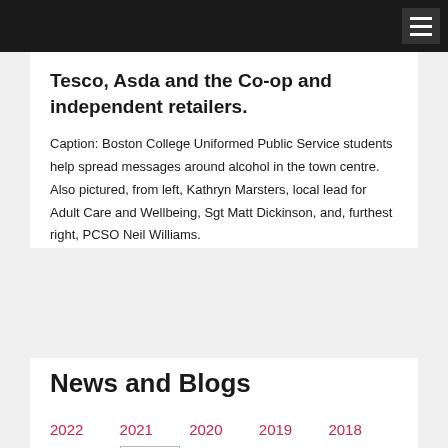Tesco, Asda and the Co-op and independent retailers.
Caption: Boston College Uniformed Public Service students help spread messages around alcohol in the town centre. Also pictured, from left, Kathryn Marsters, local lead for Adult Care and Wellbeing, Sgt Matt Dickinson, and, furthest right, PCSO Neil Williams.
News and Blogs
2022
2021
2020
2019
2018
2017
2016
2015
2014
2013
2012
2011